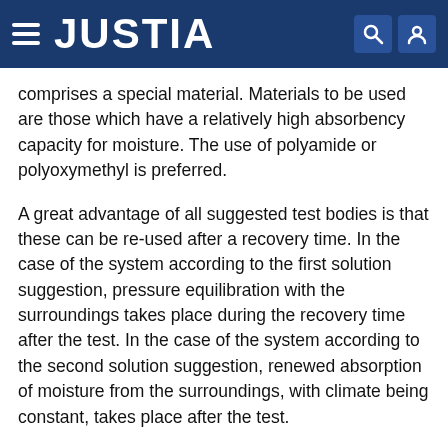JUSTIA
comprises a special material. Materials to be used are those which have a relatively high absorbency capacity for moisture. The use of polyamide or polyoxymethyl is preferred.
A great advantage of all suggested test bodies is that these can be re-used after a recovery time. In the case of the system according to the first solution suggestion, pressure equilibration with the surroundings takes place during the recovery time after the test. In the case of the system according to the second solution suggestion, renewed absorption of moisture from the surroundings, with climate being constant, takes place after the test.
The invention is described with reference to two examples.